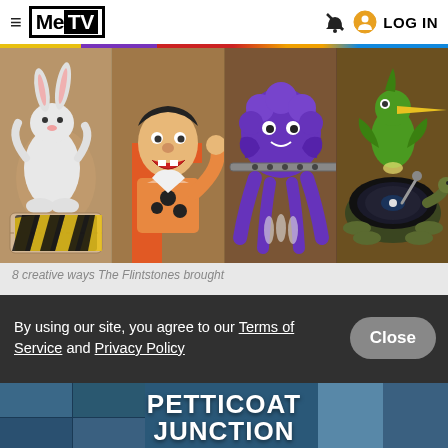MeTV — LOG IN
[Figure (photo): Four cartoon panels side by side: a rabbit character, Fred Flintstone, a purple octopus playing a flute, and a green bird on a turtle/record player — from The Flintstones animation]
8 creative ways The Flintstones brought
By using our site, you agree to our Terms of Service and Privacy Policy
Close
[Figure (photo): Petticoat Junction TV show promotional image with cast members on left side and right side, 'PETTICOAT JUNCTION' title text in center]